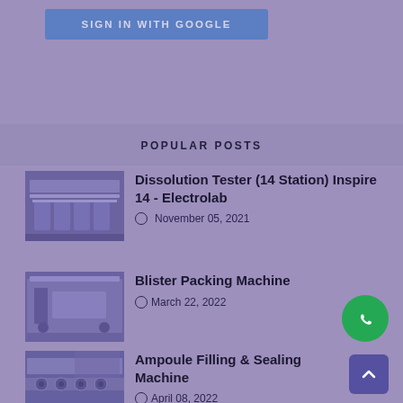SIGN IN WITH GOOGLE
POPULAR POSTS
Dissolution Tester (14 Station) Inspire 14 - Electrolab
November 05, 2021
[Figure (photo): Dissolution Tester machine photo]
Blister Packing Machine
March 22, 2022
[Figure (photo): Blister Packing Machine photo]
Ampoule Filling & Sealing Machine
April 08, 2022
[Figure (photo): Ampoule Filling & Sealing Machine photo]